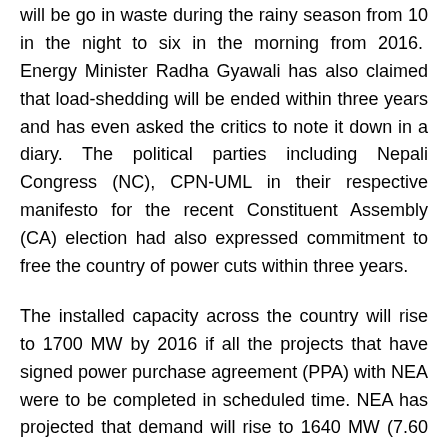will be go in waste during the rainy season from 10 in the night to six in the morning from 2016. Energy Minister Radha Gyawali has also claimed that load-shedding will be ended within three years and has even asked the critics to note it down in a diary. The political parties including Nepali Congress (NC), CPN-UML in their respective manifesto for the recent Constituent Assembly (CA) election had also expressed commitment to free the country of power cuts within three years.
The installed capacity across the country will rise to 1700 MW by 2016 if all the projects that have signed power purchase agreement (PPA) with NEA were to be completed in scheduled time. NEA has projected that demand will rise to 1640 MW (7.60 billion units a year) but the projects will be generating only around 800 MW during the dry season as all the projects are ROR types. There will, therefore, be shortage of over 800 MW in the distribution system. The